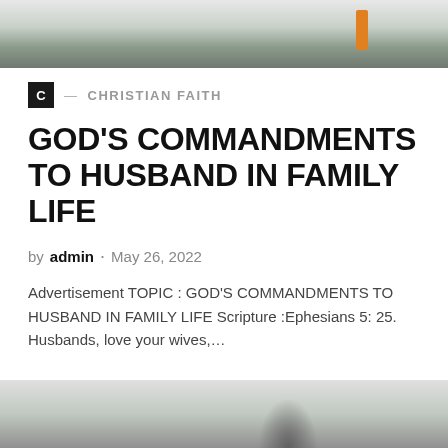[Figure (photo): Top partial photo of an outdoor street scene with orange traffic cone visible]
C — CHRISTIAN FAITH
GOD'S COMMANDMENTS TO HUSBAND IN FAMILY LIFE
by admin · May 26, 2022
Advertisement TOPIC : GOD'S COMMANDMENTS TO HUSBAND IN FAMILY LIFE Scripture :Ephesians 5: 25. Husbands, love your wives,...
[Figure (photo): Bottom partial photo, appears to be an interior or person scene, partially visible]